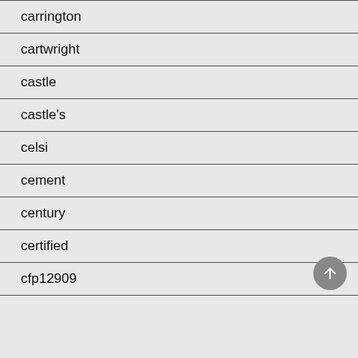carrington
cartwright
castle
castle's
celsi
cement
century
certified
cfp12909